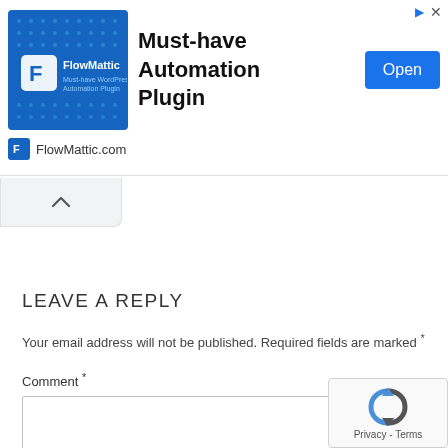[Figure (screenshot): FlowMattic advertisement banner with blue tiled logo image on left, 'Must-have Automation Plugin' bold headline in center, blue 'Open' button on right, and FlowMattic.com footer with icon.]
[Figure (other): Collapse/scroll-up button with upward chevron arrow, partially visible tab UI element.]
LEAVE A REPLY
Your email address will not be published. Required fields are marked *
Comment *
[Figure (other): reCAPTCHA widget showing recycling-arrows logo with 'Privacy - Terms' text below.]